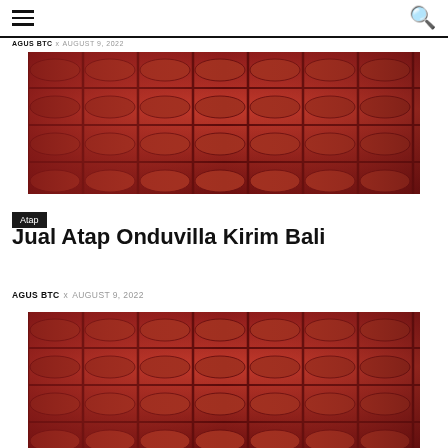hamburger menu and search icon
AGUS BTC x AUGUST 9, 2022
[Figure (photo): Red/dark maroon onduvilla roof tiles photographed from above at an angle, showing interlocking pattern]
Atap
Jual Atap Onduvilla Kirim Bali
AGUS BTC x AUGUST 9, 2022
[Figure (photo): Red/dark maroon onduvilla roof tiles photographed from above at an angle, showing interlocking pattern]